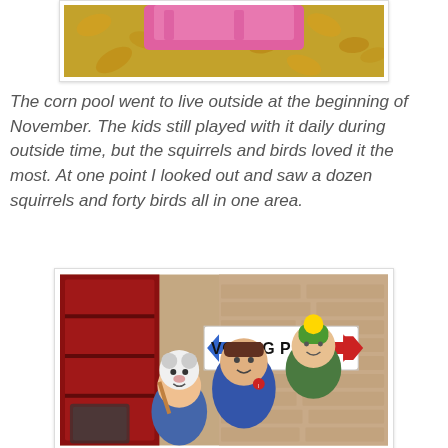[Figure (photo): Top portion of a photo showing pink fabric/jacket and autumn leaves on ground]
The corn pool went to live outside at the beginning of November. The kids still played with it daily during outside time, but the squirrels and birds loved it the most. At one point I looked out and saw a dozen squirrels and forty birds all in one area.
[Figure (photo): Three children posing in front of a brick wall with a 'VOTING PLACE' sign. One child wears a green winter hat and green puffer jacket, another wears a blue jacket and an 'I voted' sticker, and a smaller child in the front wears an animal-face hat.]